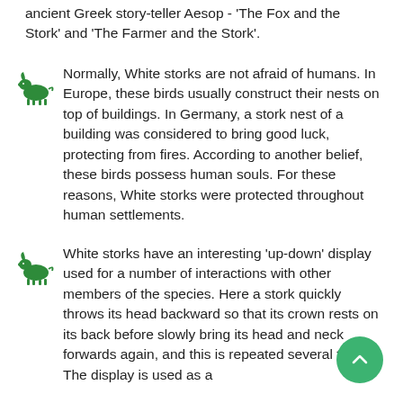ancient Greek story-teller Aesop - 'The Fox and the Stork' and 'The Farmer and the Stork'.
Normally, White storks are not afraid of humans. In Europe, these birds usually construct their nests on top of buildings. In Germany, a stork nest of a building was considered to bring good luck, protecting from fires. According to another belief, these birds possess human souls. For these reasons, White storks were protected throughout human settlements.
White storks have an interesting 'up-down' display used for a number of interactions with other members of the species. Here a stork quickly throws its head backward so that its crown rests on its back before slowly bring its head and neck forwards again, and this is repeated several times. The display is used as a